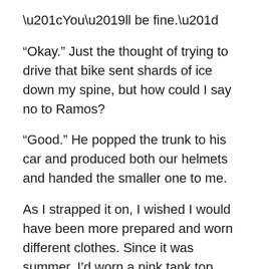“You’ll be fine.”
“Okay.” Just the thought of trying to drive that bike sent shards of ice down my spine, but how could I say no to Ramos?
“Good.” He popped the trunk to his car and produced both our helmets and handed the smaller one to me.
As I strapped it on, I wished I would have been more prepared and worn different clothes. Since it was summer, I’d worn a pink tank top under a white linen shirt and my denim capri pants with sparkles on the back pockets. On my feet, I’d slipped on my denim sandals that totally matched. At least they were flat, and the top of my foot was covered, so that would help with the shifting part.
I climbed on behind Ramos, and slipped my arms around